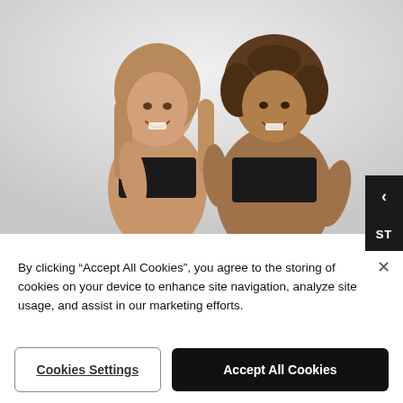[Figure (photo): Two women smiling, wearing black bralettes/sports bras, standing against a light grey background. One has long straight blonde hair, the other has curly medium-length hair.]
By clicking “Accept All Cookies”, you agree to the storing of cookies on your device to enhance site navigation, analyze site usage, and assist in our marketing efforts.
Cookies Settings
Accept All Cookies